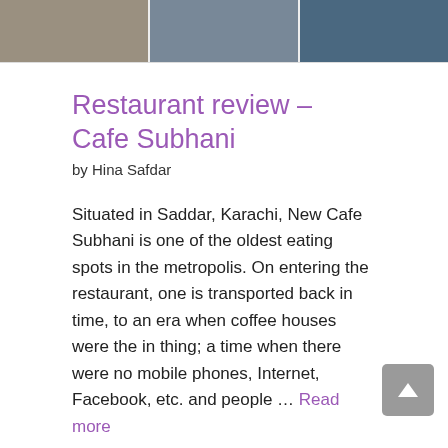[Figure (photo): Street photo strip showing a restaurant exterior in Karachi, split into three segments]
Restaurant review – Cafe Subhani
by Hina Safdar
Situated in Saddar, Karachi, New Cafe Subhani is one of the oldest eating spots in the metropolis. On entering the restaurant, one is transported back in time, to an era when coffee houses were the in thing; a time when there were no mobile phones, Internet, Facebook, etc. and people … Read more
Entertainment, Food, Reviews
Cafe Subhani, chelo kebab, Karachi, restaurant, Restaurant Review, Restaurants, Saddar